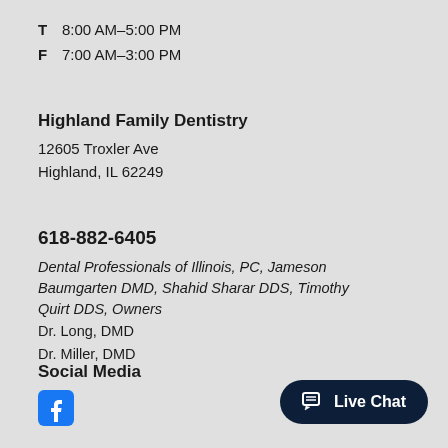T  8:00 AM–5:00 PM
F  7:00 AM–3:00 PM
Highland Family Dentistry
12605 Troxler Ave
Highland, IL 62249
618-882-6405
Dental Professionals of Illinois, PC, Jameson Baumgarten DMD, Shahid Sharar DDS, Timothy Quirt DDS, Owners
Dr. Long, DMD
Dr. Miller, DMD
Social Media
[Figure (logo): Facebook logo icon (square with rounded corners, 'f' symbol)]
Live Chat